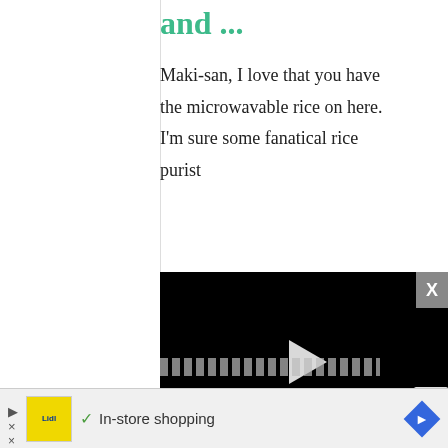and ...
Maki-san, I love that you have the microwavable rice on here. I'm sure some fanatical rice purist
[Figure (screenshot): Embedded video player showing a black screen with a white play button, progress bar at bottom near zero, and controls showing muted icon, timestamp 13:52, CC button, grid button, settings gear, and fullscreen button. A grey X close button is at top right.]
after work that it's
[Figure (screenshot): Advertisement banner at bottom showing a Lidl logo on yellow background, a green checkmark, text 'In-store shopping', and a blue diamond navigation arrow icon. A small X close button and play/ad icon are also visible.]